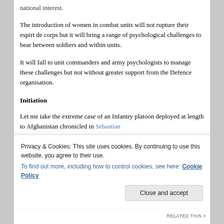national interest.
The introduction of women in combat units will not rupture their espirt de corps but it will bring a range of psychological challenges to bear between soldiers and within units.
It will fall to unit commanders and army psychologists to manage these challenges but not without greater support from the Defence organisation.
Initiation
Let me take the extreme case of an Infantry platoon deployed at length to Afghanistan chronicled in Sebastian
Privacy & Cookies: This site uses cookies. By continuing to use this website, you agree to their use. To find out more, including how to control cookies, see here: Cookie Policy
Close and accept